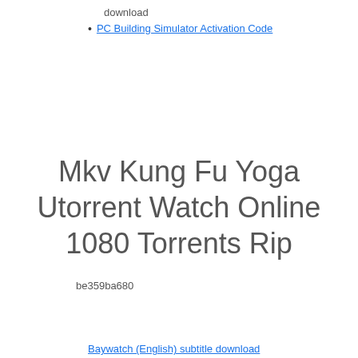download
PC Building Simulator Activation Code
Mkv Kung Fu Yoga Utorrent Watch Online 1080 Torrents Rip
be359ba680
Baywatch (English) subtitle download